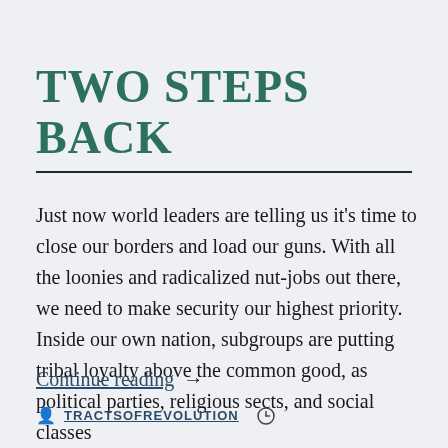TWO STEPS BACK
Just now world leaders are telling us it's time to close our borders and load our guns. With all the loonies and radicalized nut-jobs out there, we need to make security our highest priority. Inside our own nation, subgroups are putting tribal loyalty above the common good, as political parties, religious sects, and social classes
Continue reading  →
TRACTSOFREVOLUTION